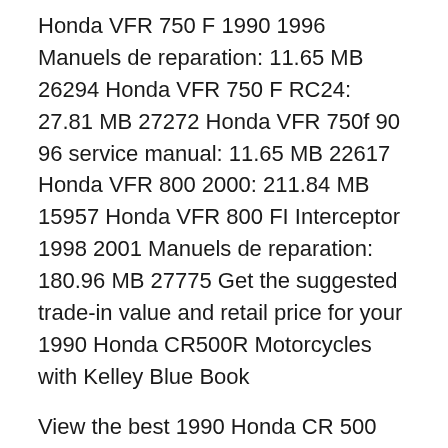Honda VFR 750 F 1990 1996 Manuels de reparation: 11.65 MB 26294 Honda VFR 750 F RC24: 27.81 MB 27272 Honda VFR 750f 90 96 service manual: 11.65 MB 22617 Honda VFR 800 2000: 211.84 MB 15957 Honda VFR 800 FI Interceptor 1998 2001 Manuels de reparation: 180.96 MB 27775 Get the suggested trade-in value and retail price for your 1990 Honda CR500R Motorcycles with Kelley Blue Book
View the best 1990 Honda CR 500 (cr500) motorcycle pictures uploaded by users all over the world DAILYALEXA.INFO Ebook and Manual Reference Honda Cr500r Service Manual Repair 1985 1991 Cr500 Printable 2019 Best ebook you